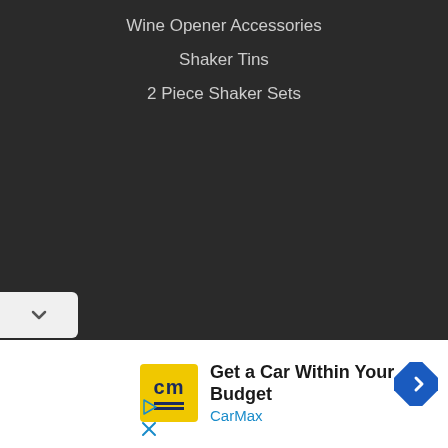Wine Opener Accessories
Shaker Tins
2 Piece Shaker Sets
[Figure (screenshot): Collapse/expand chevron button on dark background]
[Figure (infographic): CarMax advertisement: Get a Car Within Your Budget, CarMax logo in yellow, navigation arrow icon, play and close controls]